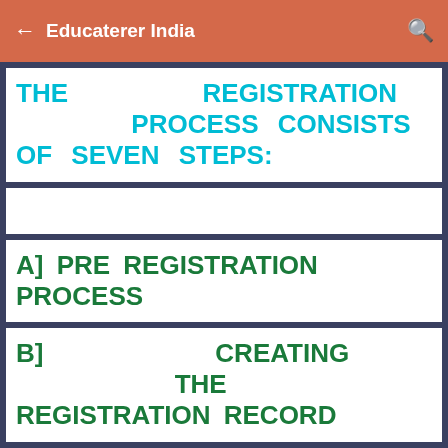Educaterer India
THE REGISTRATION PROCESS CONSISTS OF SEVEN STEPS:
A] PRE REGISTRATION PROCESS
B] CREATING THE REGISTRATION RECORD
C] ASSIGNING THE METHOD OF PAYMENT
D] ESTABLISHING THE METHOD